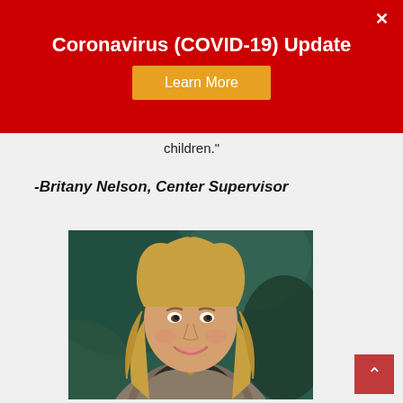Coronavirus (COVID-19) Update
children."
-Britany Nelson, Center Supervisor
[Figure (photo): Portrait photo of Britany Nelson, a smiling young woman with long wavy blonde hair, wearing a gray vest over a dark top with a necklace, standing in front of a colorful painted background.]